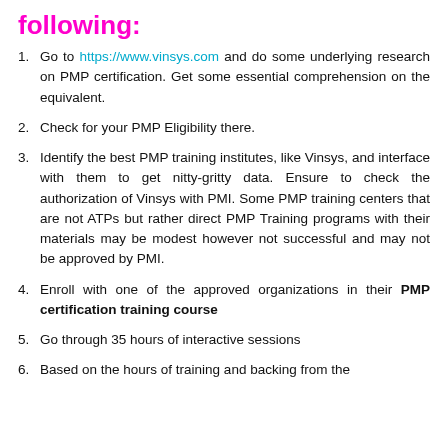following:
Go to https://www.vinsys.com and do some underlying research on PMP certification. Get some essential comprehension on the equivalent.
Check for your PMP Eligibility there.
Identify the best PMP training institutes, like Vinsys, and interface with them to get nitty-gritty data. Ensure to check the authorization of Vinsys with PMI. Some PMP training centers that are not ATPs but rather direct PMP Training programs with their materials may be modest however not successful and may not be approved by PMI.
Enroll with one of the approved organizations in their PMP certification training course
Go through 35 hours of interactive sessions
Based on the hours of training and backing from the